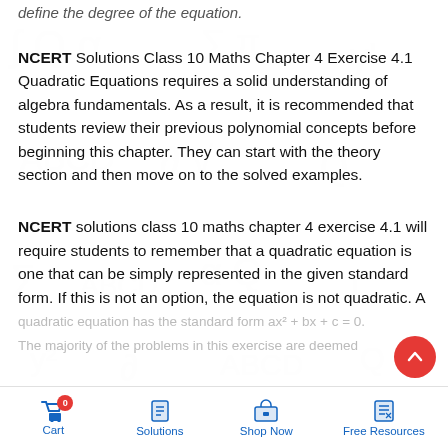define the degree of the equation.
NCERT Solutions Class 10 Maths Chapter 4 Exercise 4.1 Quadratic Equations requires a solid understanding of algebra fundamentals. As a result, it is recommended that students review their previous polynomial concepts before beginning this chapter. They can start with the theory section and then move on to the solved examples.
NCERT solutions class 10 maths chapter 4 exercise 4.1 will require students to remember that a quadratic equation is one that can be simply represented in the given standard form. If this is not an option, the equation is not quadratic. A quadratic equation has the standard form ax² + bx + c = 0. The majority of the problems in this exercise are deemed
Cart   0   Solutions   Shop Now   Free Resources